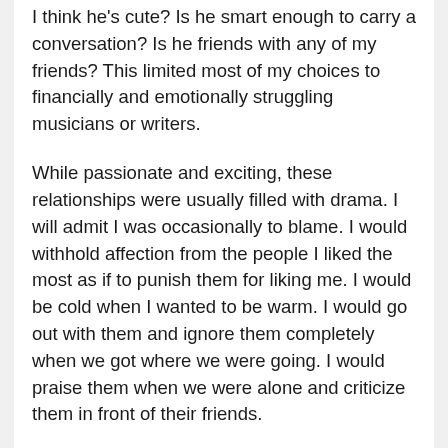I think he's cute? Is he smart enough to carry a conversation? Is he friends with any of my friends? This limited most of my choices to financially and emotionally struggling musicians or writers.
While passionate and exciting, these relationships were usually filled with drama. I will admit I was occasionally to blame. I would withhold affection from the people I liked the most as if to punish them for liking me. I would be cold when I wanted to be warm. I would go out with them and ignore them completely when we got where we were going. I would praise them when we were alone and criticize them in front of their friends.
Ultimately, all of these shenanigans were ways of hurting myself. I sabotaged my own chances for happiness before any could come my way. That's the way attitude works. While other people may